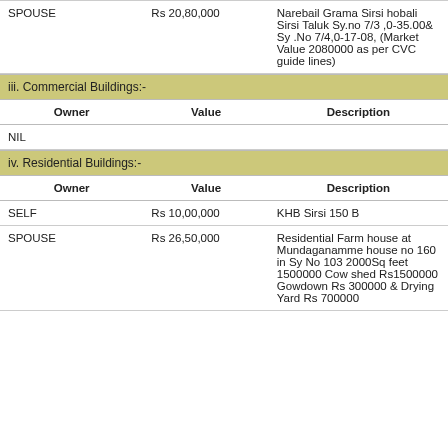| Owner | Value | Description |
| --- | --- | --- |
| SPOUSE | Rs 20,80,000 | Narebail Grama Sirsi hobali Sirsi Taluk Sy.no 7/3 ,0-35.00& Sy .No 7/4,0-17-08, (Market Value 2080000 as per CVC guide lines) |
iii. Commercial Buildings:-
| Owner | Value | Description |
| --- | --- | --- |
| NIL |  |  |
iv. Residential Buildings:-
| Owner | Value | Description |
| --- | --- | --- |
| SELF | Rs 10,00,000 | KHB Sirsi 150 B |
| SPOUSE | Rs 26,50,000 | Residential Farm house at Mundaganamme house no 160 in Sy No 103 2000Sq feet 1500000 Cow shed Rs1500000 Gowdown Rs 300000 & Drying Yard Rs 700000 |